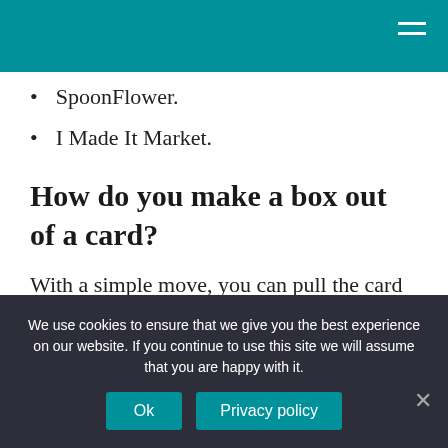SpoonFlower.
I Made It Market.
How do you make a box out of a card?
With a simple move, you can pull the card upright and form it into the box shape. The panels will hang down around the outside. I used a corner rounder punch while the box
We use cookies to ensure that we give you the best experience on our website. If you continue to use this site we will assume that you are happy with it.